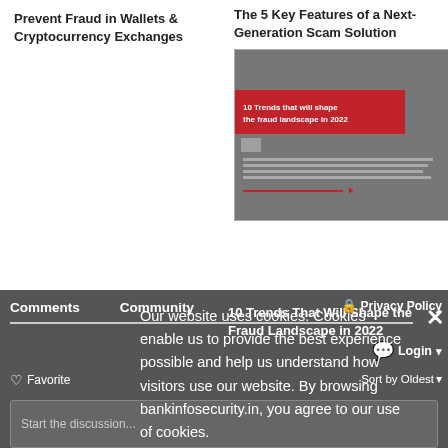Prevent Fraud in Wallets & Cryptocurrency Exchanges
The 5 Key Features of a Next-Generation Scam Solution
[Figure (screenshot): Thumbnail image of a report titled '10 Trends that will shape the fraud landscape in 2022' with dark background and red banner]
10 Trends That Will Shape the Fraud Landscape in 2022
Comments   Community
🔒 Privacy Policy
💬 Login ▾
Sort by Oldest ▾
♡ Favorite
Start the discussion...
LOG IN WITH
[Figure (logo): iSMG logo button — dark background with orange italic i and white SMG text]
Our website uses cookies. Cookies enable us to provide the best experience possible and help us understand how visitors use our website. By browsing bankinfosecurity.in, you agree to our use of cookies.